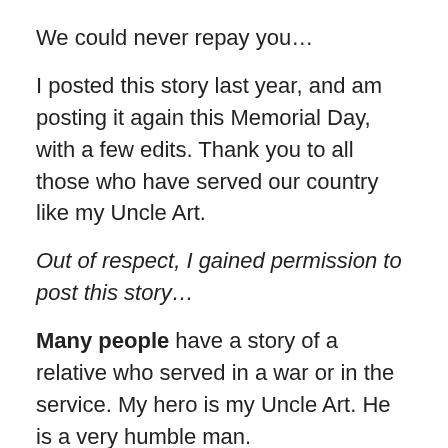We could never repay you…
I posted this story last year, and am posting it again this Memorial Day, with a few edits. Thank you to all those who have served our country like my Uncle Art.
Out of respect, I gained permission to post this story…
Many people have a story of a relative who served in a war or in the service. My hero is my Uncle Art. He is a very humble man.
But I want to honor him on this Memorial Day.
My Uncle Arthur Volkema is a veteran of WWII. There aren't too many of them left anymore as he served very young. He's 90 years old, his health isn't where he would like it to be, but he still gets around. He is like a lot of